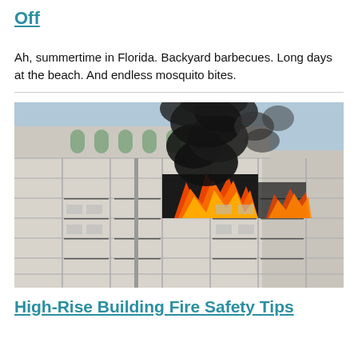Off
Ah, summertime in Florida. Backyard barbecues. Long days at the beach. And endless mosquito bites.
[Figure (photo): A high-rise apartment building with flames and large black smoke billowing from upper-floor balconies]
High-Rise Building Fire Safety Tips